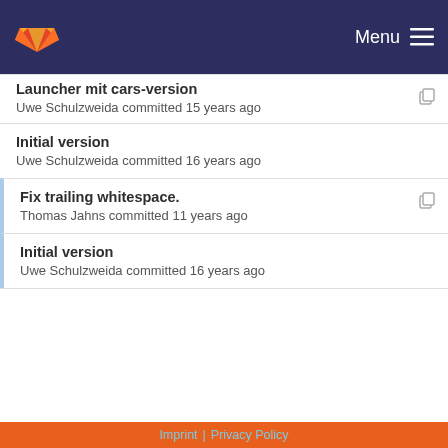Menu
Launcher mit cars-version
Uwe Schulzweida committed 15 years ago
Initial version
Uwe Schulzweida committed 16 years ago
Fix trailing whitespace.
Thomas Jahns committed 11 years ago
Initial version
Uwe Schulzweida committed 16 years ago
Merge branch 'master' into cdi-pio
Imprint | Privacy Policy